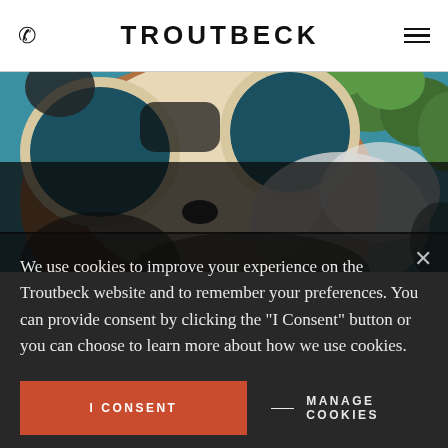TROUTBECK
[Figure (illustration): Close-up illustrated artwork of a raccoon face with teal/dark blue eye patches, brown fur, white markings, and green foliage in the background. Stylized, graphic art style.]
We use cookies to improve your experience on the Troutbeck website and to remember your preferences. You can provide consent by clicking the "I Consent" button or you can choose to learn more about how we use cookies.
I CONSENT
MANAGE COOKIES